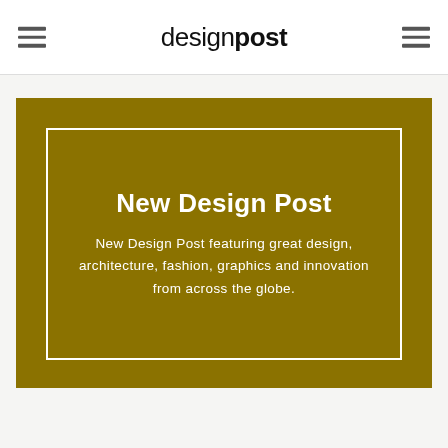designpost
New Design Post
New Design Post featuring great design, architecture, fashion, graphics and innovation from across the globe.